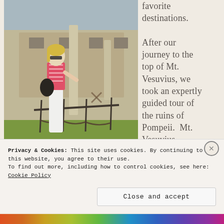[Figure (photo): Woman in white pants and pink striped top standing at an iron fence railing at the ruins of Pompeii, with ancient stone walls and columns in the background.]
favorite destinations. After our journey to the top of Mt. Vesuvius, we took an expertly guided tour of the ruins of Pompeii. Mt. Vesuvius
Privacy & Cookies: This site uses cookies. By continuing to use this website, you agree to their use.
To find out more, including how to control cookies, see here: Cookie Policy
Close and accept